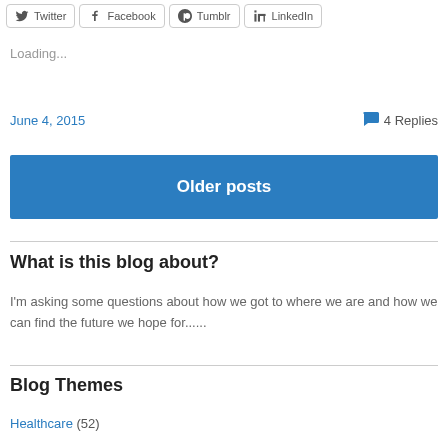[Figure (other): Social sharing buttons: Twitter, Facebook, Tumblr, LinkedIn]
Loading...
June 4, 2015   💬 4 Replies
Older posts
What is this blog about?
I'm asking some questions about how we got to where we are and how we can find the future we hope for......
Blog Themes
Healthcare (52)